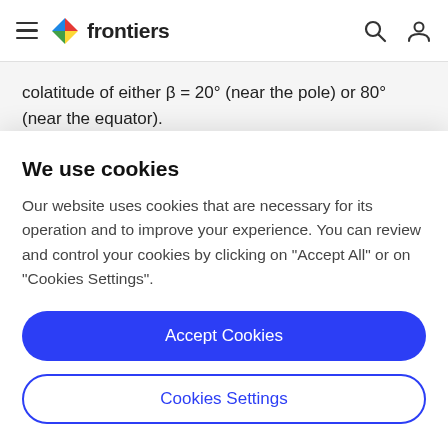frontiers (navigation bar with hamburger menu, search icon, and user icon)
colatitude of either β = 20° (near the pole) or 80° (near the equator).
In the following section we focus on two multiplets with (ℓ, n) = (1, 18) and (2, 18). For each of these modes we
We use cookies
Our website uses cookies that are necessary for its operation and to improve your experience. You can review and control your cookies by clicking on "Accept All" or on "Cookies Settings".
Accept Cookies
Cookies Settings